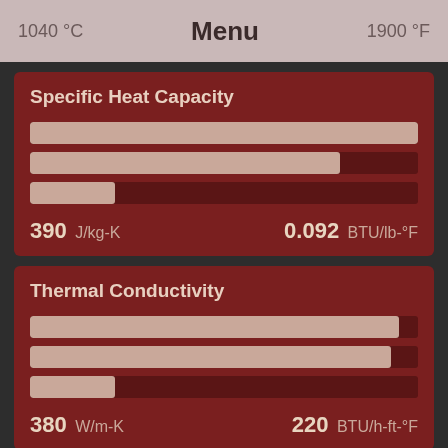1040 °C   Menu   1900 °F
Specific Heat Capacity
[Figure (infographic): Three horizontal bar indicators for Specific Heat Capacity. First bar fully filled, second bar ~80% filled, third bar ~22% filled.]
390 J/kg-K   0.092 BTU/lb-°F
Thermal Conductivity
[Figure (infographic): Three horizontal bar indicators for Thermal Conductivity. First bar ~95% filled, second bar ~95% filled, third bar ~22% filled.]
380 W/m-K   220 BTU/h-ft-°F